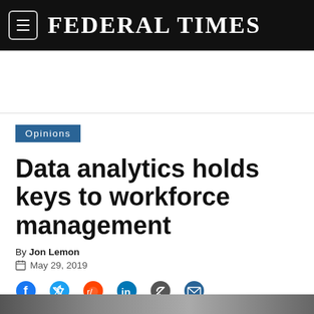FEDERAL TIMES
[Figure (other): Advertisement/banner space, blank white area]
Opinions
Data analytics holds keys to workforce management
By Jon Lemon
May 29, 2019
[Figure (other): Social sharing icons: Facebook, Twitter, Reddit, LinkedIn, Link, Email]
[Figure (photo): Article photo strip at bottom of page]